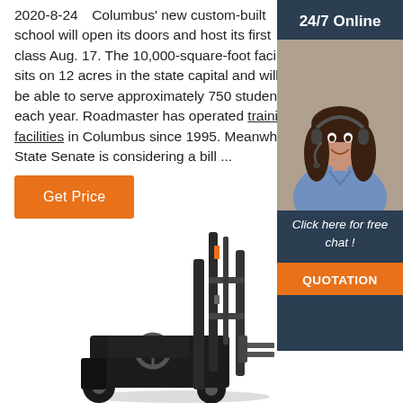2020-8-24  Columbus' new custom-built school will open its doors and host its first class Aug. 17. The 10,000-square-foot facility sits on 12 acres in the state capital and will be able to serve approximately 750 students each year. Roadmaster has operated training facilities in Columbus since 1995. Meanwhile, State Senate is considering a bill ...
[Figure (photo): Online chat support advertisement with a smiling female agent wearing a headset, dark background with '24/7 Online' header, 'Click here for free chat!' text, and orange QUOTATION button]
Get Price
[Figure (photo): A black forklift machine photographed from the side, showing the mast, forks, and operator cab structure]